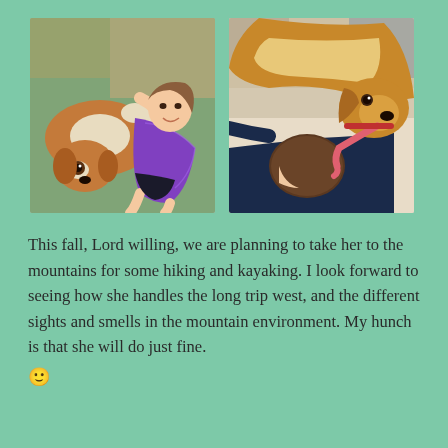[Figure (photo): A young girl in a purple sparkly leotard lying on a green carpet with a brown and white Cavalier King Charles Spaniel dog on top of her, both looking at the camera.]
[Figure (photo): A golden-brown dog licking the head of a young child who is lying face-down on a bed with white/beige bedding.]
This fall, Lord willing, we are planning to take her to the mountains for some hiking and kayaking. I look forward to seeing how she handles the long trip west, and the different sights and smells in the mountain environment. My hunch is that she will do just fine. 🙂